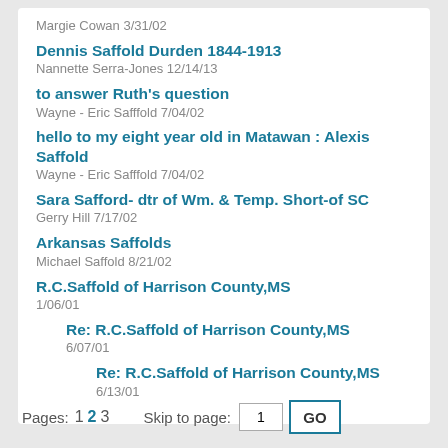Margie Cowan 3/31/02
Dennis Saffold Durden 1844-1913
Nannette Serra-Jones 12/14/13
to answer Ruth's question
Wayne - Eric Safffold 7/04/02
hello to my eight year old in Matawan : Alexis Saffold
Wayne - Eric Safffold 7/04/02
Sara Safford- dtr of Wm. & Temp. Short-of SC
Gerry Hill 7/17/02
Arkansas Saffolds
Michael Saffold 8/21/02
R.C.Saffold of Harrison County,MS
1/06/01
Re: R.C.Saffold of Harrison County,MS
6/07/01
Re: R.C.Saffold of Harrison County,MS
6/13/01
Pages: 1 2 3    Skip to page: 1    GO